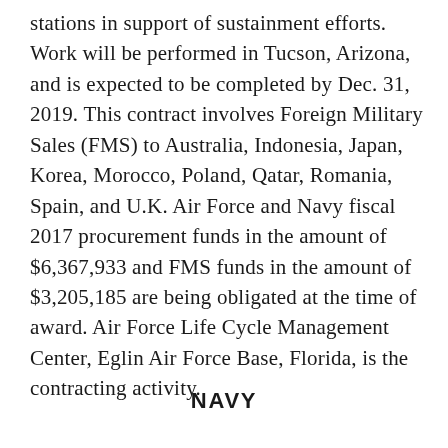stations in support of sustainment efforts. Work will be performed in Tucson, Arizona, and is expected to be completed by Dec. 31, 2019. This contract involves Foreign Military Sales (FMS) to Australia, Indonesia, Japan, Korea, Morocco, Poland, Qatar, Romania, Spain, and U.K. Air Force and Navy fiscal 2017 procurement funds in the amount of $6,367,933 and FMS funds in the amount of $3,205,185 are being obligated at the time of award. Air Force Life Cycle Management Center, Eglin Air Force Base, Florida, is the contracting activity.
NAVY